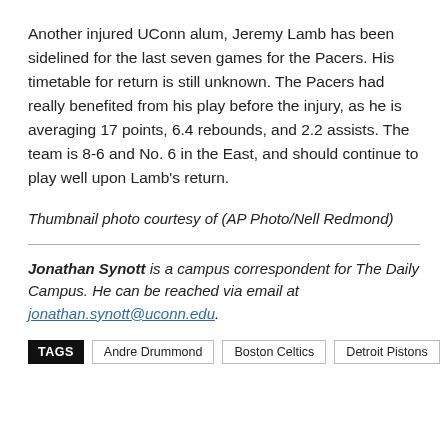Another injured UConn alum, Jeremy Lamb has been sidelined for the last seven games for the Pacers. His timetable for return is still unknown. The Pacers had really benefited from his play before the injury, as he is averaging 17 points, 6.4 rebounds, and 2.2 assists. The team is 8-6 and No. 6 in the East, and should continue to play well upon Lamb's return.
Thumbnail photo courtesy of (AP Photo/Nell Redmond)
Jonathan Synott is a campus correspondent for The Daily Campus. He can be reached via email at jonathan.synott@uconn.edu.
TAGS: Andre Drummond, Boston Celtics, Detroit Pistons